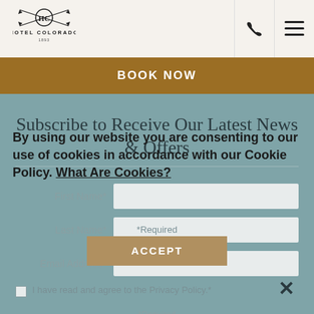[Figure (logo): Hotel Colorado logo with crossed arrows and HC monogram]
BOOK NOW
Subscribe to Receive Our Latest News & Offers
First Name*
Last Name*
Email Address*
I have read and agree to the Privacy Policy.*
*Required
SIGN UP
By using our website you are consenting to our use of cookies in accordance with our Cookie Policy. What Are Cookies?
ACCEPT
×